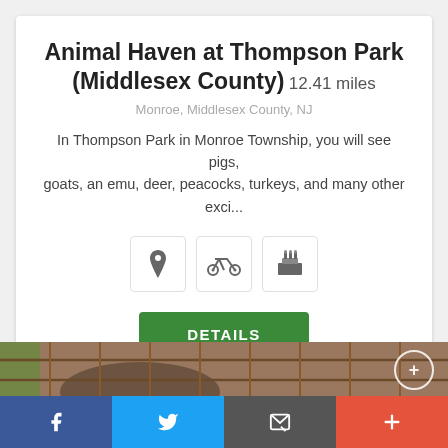Animal Haven at Thompson Park (Middlesex County) 12.41 miles
Monroe, Middlesex County, NJ
In Thompson Park in Monroe Township, you will see pigs, goats, an emu, deer, peacocks, turkeys, and many other exci...
[Figure (infographic): Three icon buttons: map pin, bicycle, birthday cake]
[Figure (photo): A close-up photo of a pig's snout behind a wire fence]
[Figure (infographic): Bottom social sharing bar with Facebook, Twitter, email, and plus buttons]